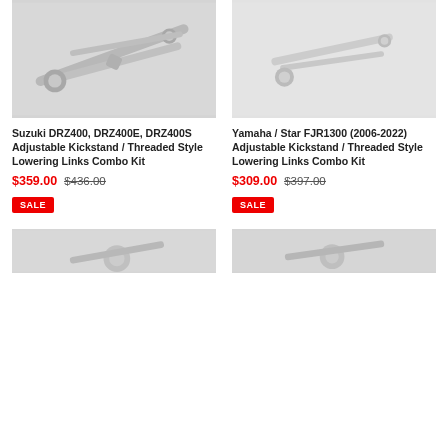[Figure (photo): Adjustable kickstand / threaded style lowering links product photo - metallic silver components]
Suzuki DRZ400, DRZ400E, DRZ400S Adjustable Kickstand / Threaded Style Lowering Links Combo Kit
$359.00  $436.00
SALE
[Figure (photo): Yamaha FJR1300 adjustable kickstand product photo - light gray background]
Yamaha / Star FJR1300 (2006-2022) Adjustable Kickstand / Threaded Style Lowering Links Combo Kit
$309.00  $397.00
SALE
[Figure (photo): Bottom left product partial photo - metallic silver components]
[Figure (photo): Bottom right product partial photo - metallic silver components]